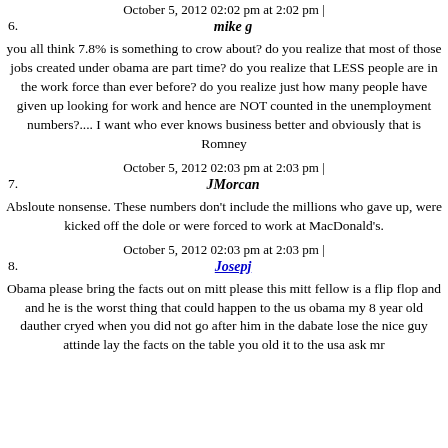October 5, 2012 02:02 pm at 2:02 pm |
6.
mike g
you all think 7.8% is something to crow about? do you realize that most of those jobs created under obama are part time? do you realize that LESS people are in the work force than ever before? do you realize just how many people have given up looking for work and hence are NOT counted in the unemployment numbers?.... I want who ever knows business better and obviously that is Romney
October 5, 2012 02:03 pm at 2:03 pm |
7.
JMorcan
Absloute nonsense. These numbers don't include the millions who gave up, were kicked off the dole or were forced to work at MacDonald's.
October 5, 2012 02:03 pm at 2:03 pm |
8.
Josepj
Obama please bring the facts out on mitt please this mitt fellow is a flip flop and and he is the worst thing that could happen to the us obama my 8 year old dauther cryed when you did not go after him in the dabate lose the nice guy attinde lay the facts on the table you old it to the usa ask mr